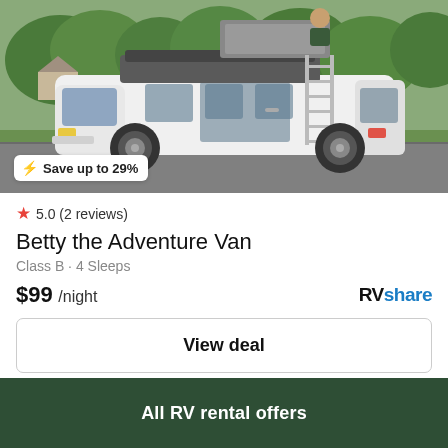[Figure (photo): White minivan with rooftop tent and ladder attached, parked in a driveway with green trees in background. A person visible at the top of the roof tent.]
⚡ Save up to 29%
★ 5.0 (2 reviews)
Betty the Adventure Van
Class B · 4 Sleeps
$99 /night
RVshare
View deal
All RV rental offers